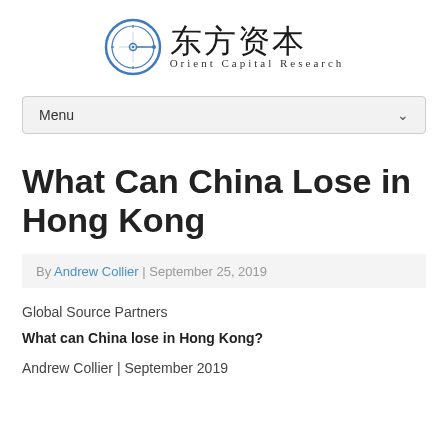[Figure (logo): Orient Capital Research logo with circular compass icon and Chinese characters 东方资本 above 'Orient Capital Research' in English]
Menu
What Can China Lose in Hong Kong
By Andrew Collier | September 25, 2019
Global Source Partners
What can China lose in Hong Kong?
Andrew Collier | September 2019